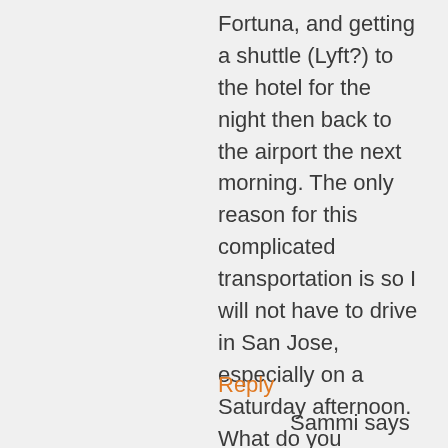Fortuna, and getting a shuttle (Lyft?) to the hotel for the night then back to the airport the next morning. The only reason for this complicated transportation is so I will not have to drive in San Jose, especially on a Saturday afternoon. What do you recommend?
Reply
Sammi says